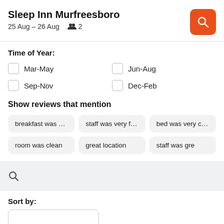Sleep Inn Murfreesboro
25 Aug – 26 Aug  👥 2
Time of Year:
Mar-May
Jun-Aug
Sep-Nov
Dec-Feb
Show reviews that mention
breakfast was good
staff was very friendly
bed was very com
room was clean
great location
staff was gre
Sort by: